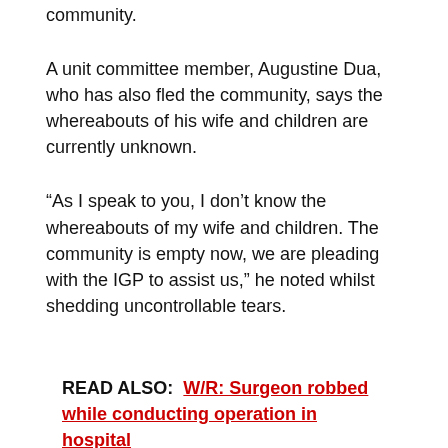community.
A unit committee member, Augustine Dua, who has also fled the community, says the whereabouts of his wife and children are currently unknown.
“As I speak to you, I don’t know the whereabouts of my wife and children. The community is empty now, we are pleading with the IGP to assist us,” he noted whilst shedding uncontrollable tears.
READ ALSO: W/R: Surgeon robbed while conducting operation in hospital
Meanwhile, the Municipal Chief Executive believes the disturbances are being fueled by the followers of two individuals who are all claiming to be chiefs in the